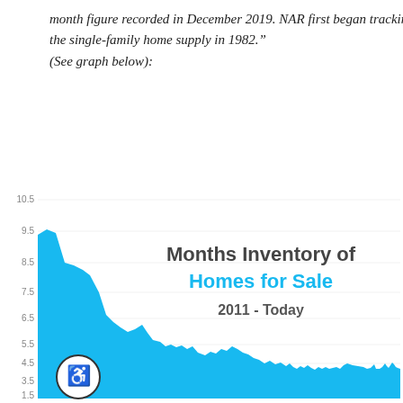month figure recorded in December 2019. NAR first began tracking the single-family home supply in 1982." (See graph below):
[Figure (area-chart): Area chart showing months inventory of homes for sale from 2011 to present day, with values starting near 9.5 in 2011, declining over time to low values near 1.5 by recent years, with some seasonal fluctuations.]